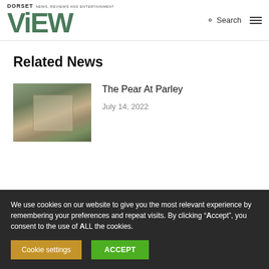DORSET ViEW NEWS, REVIEWS AND ENTERTAINMENT
Related News
[Figure (photo): Exterior photo of The Pear At Parley, showing a stone/brick building with archway and garden plants]
The Pear At Parley
July 14, 2022
We use cookies on our website to give you the most relevant experience by remembering your preferences and repeat visits. By clicking “Accept”, you consent to the use of ALL the cookies.